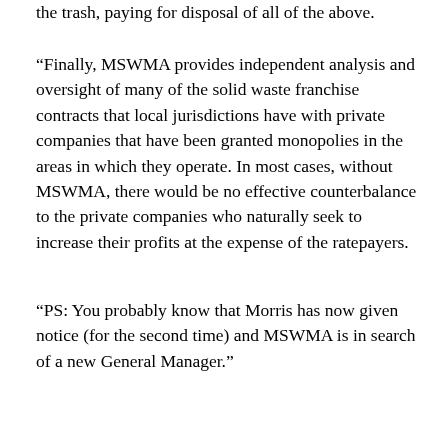the trash, paying for disposal of all of the above.
“Finally, MSWMA provides independent analysis and oversight of many of the solid waste franchise contracts that local jurisdictions have with private companies that have been granted monopolies in the areas in which they operate. In most cases, without MSWMA, there would be no effective counterbalance to the private companies who naturally seek to increase their profits at the expense of the ratepayers.
“PS: You probably know that Morris has now given notice (for the second time) and MSWMA is in search of a new General Manager.”